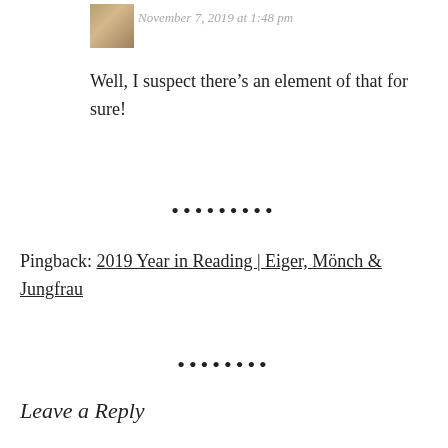November 7, 2019 at 1:48 pm
Well, I suspect there’s an element of that for sure!
•••••••••
Pingback: 2019 Year in Reading | Eiger, Mönch & Jungfrau
••••••••
Leave a Reply